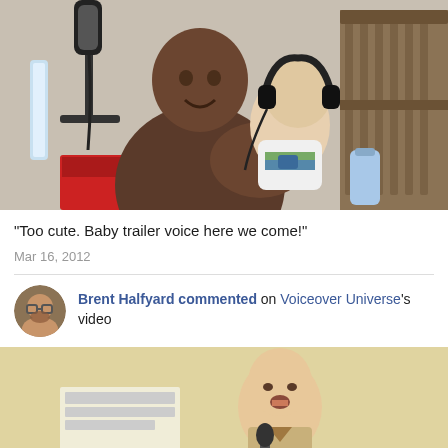[Figure (photo): A shirtless man holding a baby who is wearing oversized headphones, standing near a recording microphone in a room with a crib in the background.]
"Too cute. Baby trailer voice here we come!"
Mar 16, 2012
Brent Halfyard commented on Voiceover Universe's video
[Figure (photo): A bald man speaking at a microphone at what appears to be a conference or event, with papers visible.]